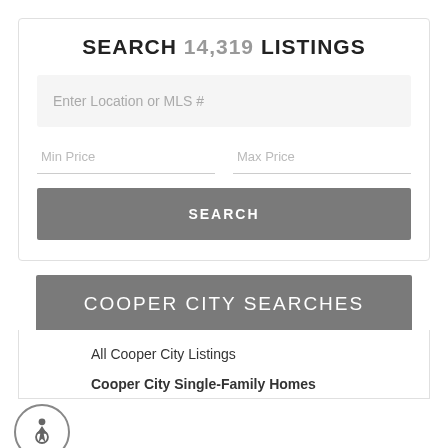SEARCH 14,319 LISTINGS
Enter Location or MLS #
Min Price
Max Price
SEARCH
COOPER CITY SEARCHES
All Cooper City Listings
Cooper City Single-Family Homes